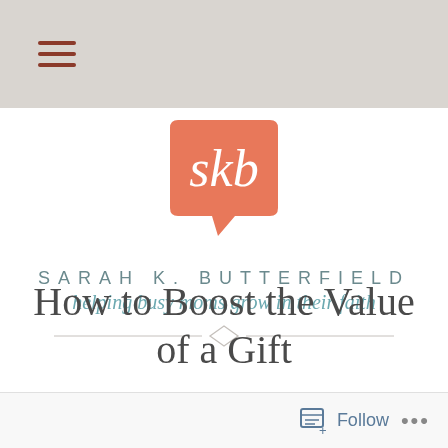Navigation bar with hamburger menu
[Figure (logo): SKB speech bubble logo — coral/salmon colored speech bubble shape with white italic script text 'skb' inside, for Sarah K. Butterfield blog]
SARAH K. BUTTERFIELD
helping busy moms grow in their faith
How to Boost the Value of a Gift
Follow ...